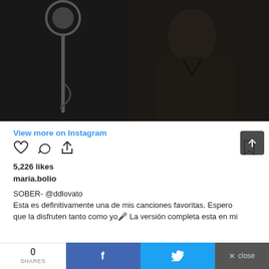[Figure (photo): Dark photo of a person at a microphone stand, dimly lit studio setting]
View more on Instagram
5,226 likes
maria.bolio
SOBER- @ddlovato
Esta es definitivamente una de mis canciones favoritas. Espero que la disfruten tanto como yo 🎤 La versión completa esta en mi
0
SHARES